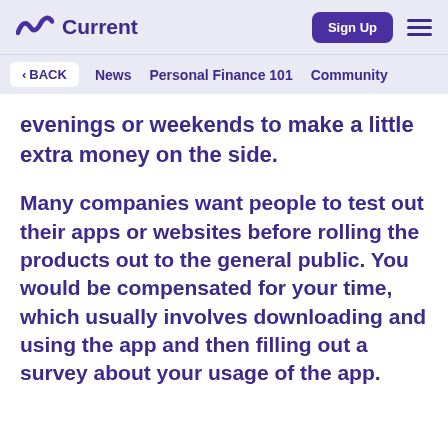Current | Sign Up
< BACK   News   Personal Finance 101   Community
evenings or weekends to make a little extra money on the side.
Many companies want people to test out their apps or websites before rolling the products out to the general public. You would be compensated for your time, which usually involves downloading and using the app and then filling out a survey about your usage of the app.